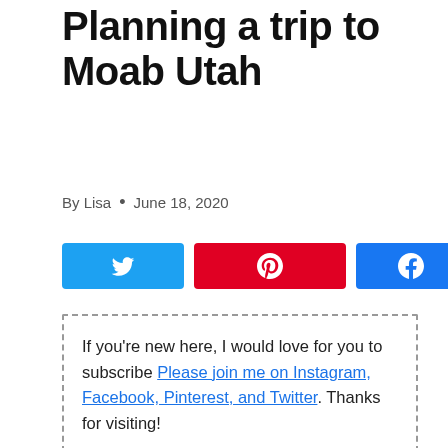Planning a trip to Moab Utah
By Lisa • June 18, 2020
[Figure (other): Social share buttons: Twitter (blue), Pinterest (red), Facebook (blue)]
If you're new here, I would love for you to subscribe Please join me on Instagram, Facebook, Pinterest, and Twitter. Thanks for visiting!
Are you thinking about planning a trip to Moab? Awesome! We just went and had so much fun! There is so much to do including visiting some of the best national parks in the USA including